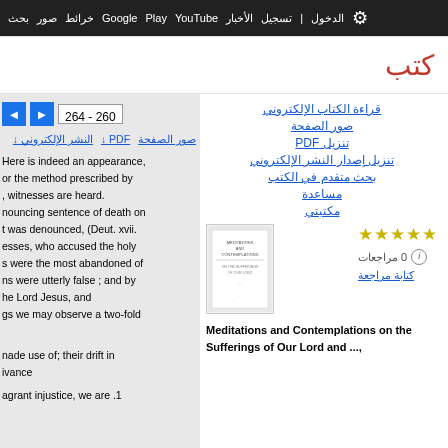بحث صور خرائط Google Play YouTube الأخبار تسجيل الدخول الإعدادات
كتب
260 - 264
صور الصفحة  PDF  النشر الإلكتروني
Here is indeed an appearance, or the method prescribed by , witnesses are heard. nouncing sentence of death on t was denounced, (Deut. xvii. esses, who accused the holy s were the most abandoned of ns were utterly false ; and by he Lord Jesus, and gs we may observe a two-fold
قراءة الكتاب الإلكتروني
صور الصفحة
تنزيل PDF
تنزيل إصدار النشر الإلكتروني
بحث متقدم في الكتب
مساعدة
مكتبتي
0 مراجعات
كتابة مراجعة
[Figure (photo): Book cover thumbnail for Meditations and Contemplations on the Sufferings of Our Lord]
Meditations and Contemplations on the Sufferings of Our Lord and ...,
nade use of; their drift in
ivance
agrant injustice, we are .1